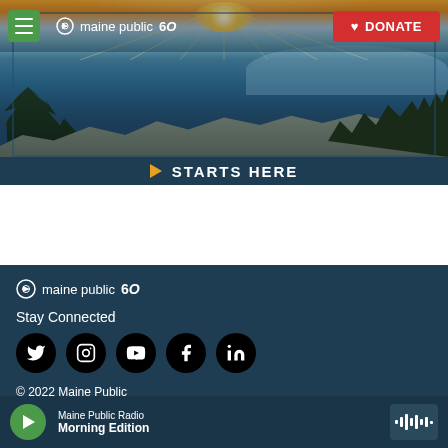[Figure (screenshot): Maine Public website header with navigation bar containing hamburger menu, Maine Public 60th anniversary logo, and red DONATE button. Background shows landscape photo with sunrise over water and trees with 'STARTS HERE' banner at bottom.]
[Figure (screenshot): Maine Public website footer with dark blue background showing logo, Stay Connected section with social media icons (Twitter, Instagram, YouTube, Facebook, LinkedIn), copyright notice '© 2022 Maine Public', and audio player bar at bottom showing Maine Public Radio Morning Edition]
Maine Public Radio
Morning Edition